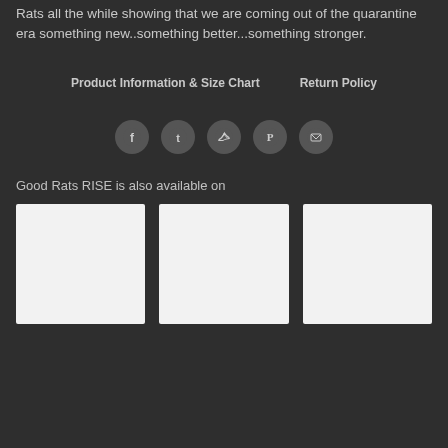Rats all the while showing that we are coming out of the quarantine era something new..something better...something stronger.
Product Information & Size Chart    Return Policy
[Figure (other): Row of five social media icons: Facebook, Tumblr, Twitter, Pinterest, Email]
Good Rats RISE is also available on
[Figure (other): Three white thumbnail image placeholders side by side]